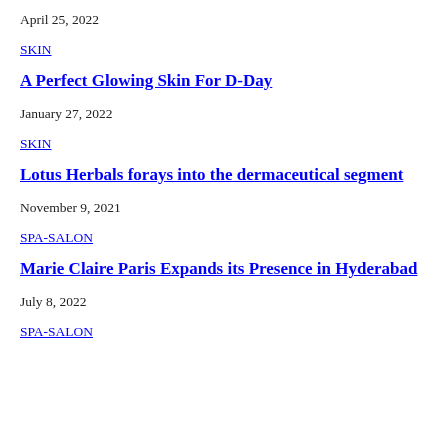April 25, 2022
SKIN
A Perfect Glowing Skin For D-Day
January 27, 2022
SKIN
Lotus Herbals forays into the dermaceutical segment
November 9, 2021
SPA-SALON
Marie Claire Paris Expands its Presence in Hyderabad
July 8, 2022
SPA-SALON